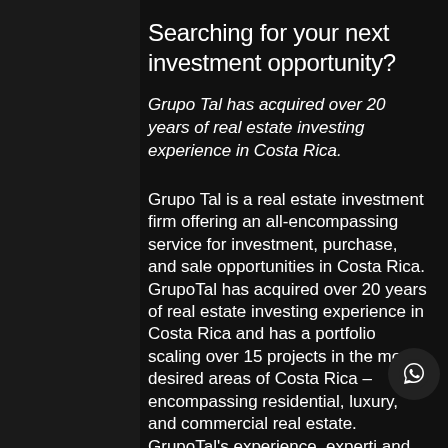Searching for your next investment opportunity?
Grupo Tal has acquired over 20 years of real estate investing experience in Costa Rica.
Grupo Tal is a real estate investment firm offering an all-encompassing service for investment, purchase, and sale opportunities in Costa Rica. GrupoTal has acquired over 20 years of real estate investing experience in Costa Rica and has a portfolio scaling over 15 projects in the most desired areas of Costa Rica –encompassing residential, luxury, and commercial real estate. GrupoTal's experience, experti and network of agents within Costa Rican real estate market make them incomparable for real